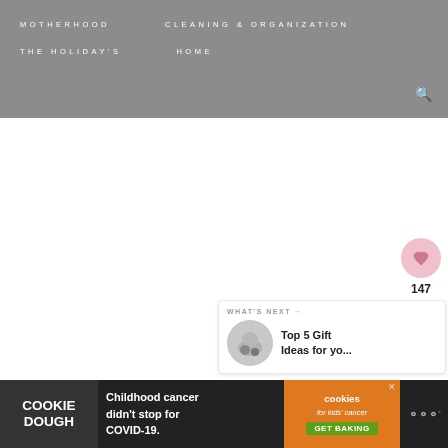MOTHERHOOD   CLEANING & ORGANIZATION   THE HOLIDAY'S   HOME
[Figure (screenshot): White content area, main body of blog/website page, largely blank]
[Figure (infographic): Social share sidebar with heart icon, like count 147, and share icon]
[Figure (infographic): What's Next widget showing thumbnail and text: Top 5 Gift Ideas for yo...]
[Figure (infographic): Cookie Dough ad banner: Childhood cancer didn't stop for COVID-19. cookies for kids cancer GET BAKING]